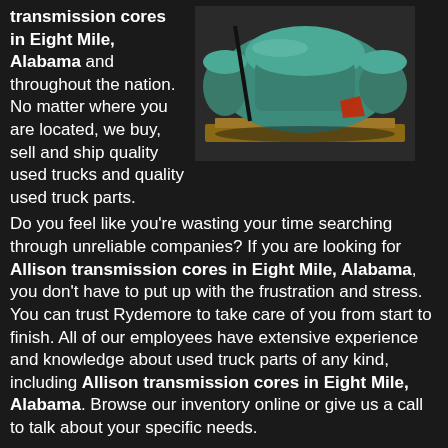transmission cores in Eight Mile, Alabama and throughout the nation. No matter where you are located, we buy, sell and ship quality used trucks and quality used truck parts.
[Figure (photo): Photo of a large green/teal Allison transmission sitting on a wooden pallet on a warehouse floor.]
Do you feel like you're wasting your time searching through unreliable companies? If you are looking for Allison transmission cores in Eight Mile, Alabama, you don't have to put up with the frustration and stress. You can trust Rydemore to take care of you from start to finish. All of our employees have extensive experience and knowledge about used truck parts of any kind, including Allison transmission cores in Eight Mile, Alabama. Browse our inventory online or give us a call to talk about your specific needs.
Rydemore is a recycling facility for heavy duty used trucks and parts with over 40 years of industry...